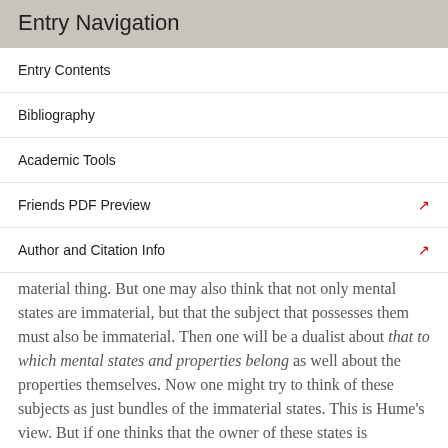Entry Navigation
Entry Contents
Bibliography
Academic Tools
Friends PDF Preview
Author and Citation Info
material thing. But one may also think that not only mental states are immaterial, but that the subject that possesses them must also be immaterial. Then one will be a dualist about that to which mental states and properties belong as well about the properties themselves. Now one might try to think of these subjects as just bundles of the immaterial states. This is Hume's view. But if one thinks that the owner of these states is something quite over and above the states themselves, and is immaterial, as they are, one will be a substance dualist.
Substance dualism is also often dubbed ‘Cartesian